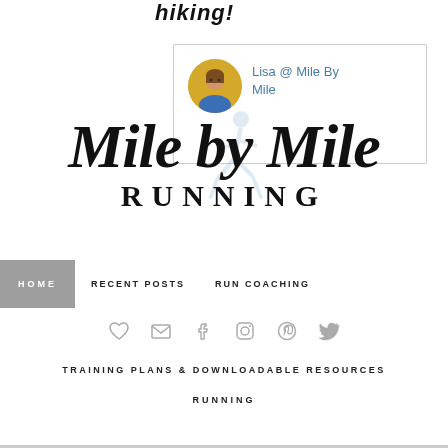hiking!
[Figure (screenshot): Comment card with circular avatar photo of a woman in blue shirt with yellow flowers background, and name 'Lisa @ Mile By Mile' in teal/blue text]
[Figure (logo): Mile by Mile Running blog logo - cursive script 'Mile by Mile' in bold black italic font with 'RUNNING' in spaced serif capitals below, runner silhouette watermark in background]
HOME    RECENT POSTS    RUN COACHING
[Figure (other): Social media icons row: heart, email, facebook, instagram, pinterest, twitter - all in light gray]
TRAINING PLANS & DOWNLOADABLE RESOURCES
RUNNING